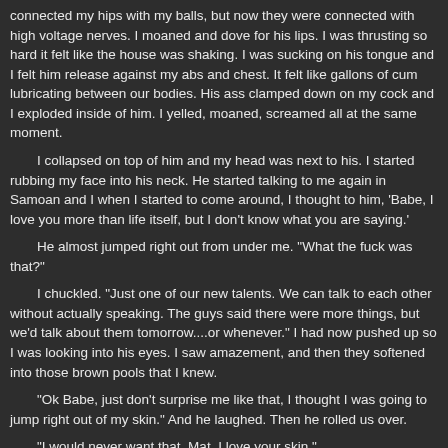connected my hips with my balls, but now they were connected with high voltage nerves. I moaned and dove for his lips. I was thrusting so hard it felt like the house was shaking. I was sucking on his tongue and I felt him release against my abs and chest. It felt like gallons of cum lubricating between our bodies. His ass clamped down on my cock and I exploded inside of him. I yelled, moaned, screamed all at the same moment.
I collapsed on top of him and my head was next to his. I started rubbing my face into his neck. He started talking to me again in Samoan and I when I started to come around, I thought to him, 'Babe, I love you more than life itself, but I don't know what you are saying.'
He almost jumped right out from under me. "What the fuck was that?"
I chuckled. "Just one of our new talents. We can talk to each other without actually speaking. The guys said there were more things, but we'd talk about them tomorrow....or whenever." I had now pushed up so I was looking into his eyes. I saw amazement, and then they softened into those brown pools that I knew.
"Ok Babe, just don't surprise me like that, I thought I was going to jump right out of my skin." And he laughed. Then he rolled us over.
"I would never want that, Mat, I love your skin."
He kissed me again, this time lightly, just a nibble, then moved down to my neck licking and sucking and nibbling his way down my body. I started stroking his shoulders and he looked up and said, "just lay still, this is for you." I laid back and he started really going to town. I swear he licked every inch of me that he could get at. Cleaned every drop of cum. My pits, my arms my pecs, man did he pay attention to my nipples, it was like they were hard little cocks being sucked.
He licked down my abs, tracing every crease to my navel. He poked and licked and even sucked it. By now, my cock was rock hard and evidently getting